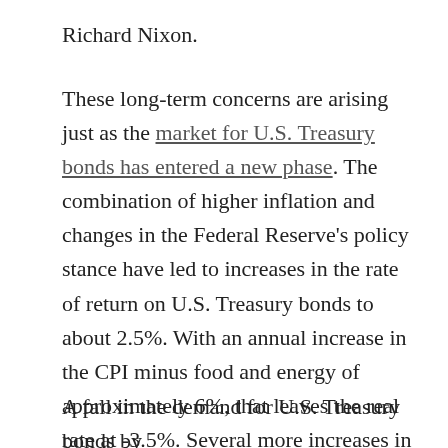Richard Nixon.
These long-term concerns are arising just as the market for U.S. Treasury bonds has entered a new phase. The combination of higher inflation and changes in the Federal Reserve's policy stance have led to increases in the rate of return on U.S. Treasury bonds to about 2.5%. With an annual increase in the CPI minus food and energy of approximately 6%, that leaves the real rate at -3.5%. Several more increases in the Federal Funds Rate will be needed to raise the real rate to positive values.
A fall in the demand for U.S. Treasury bonds by